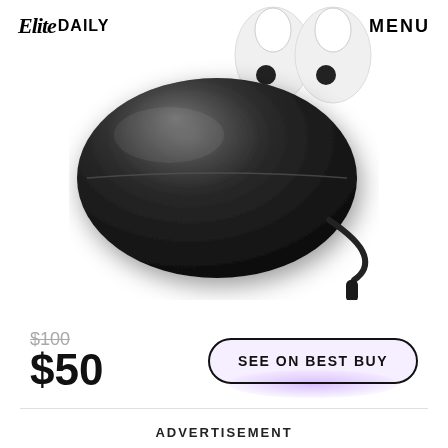Elite DAILY   MENU
[Figure (photo): Black oval wireless earbuds charging case with a USB-C cable attached, shown closed. In the upper right background, white wireless earbuds are partially visible.]
$100
$50
SEE ON BEST BUY
ADVERTISEMENT